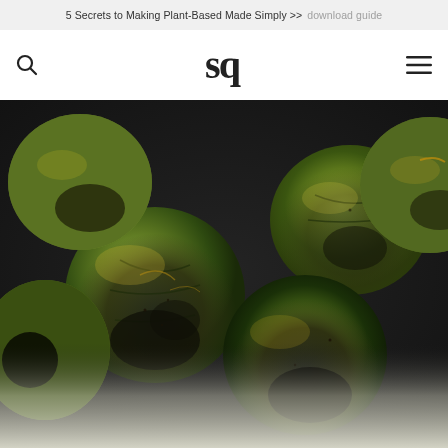5 Secrets to Making Plant-Based Made Simply >> download guide
sq
[Figure (photo): Close-up photo of roasted Brussels sprouts on a dark baking pan, caramelized and charred on the outside, glistening with oil. The image is very close-up showing texture details. The bottom portion fades into a lighter/blurred section.]